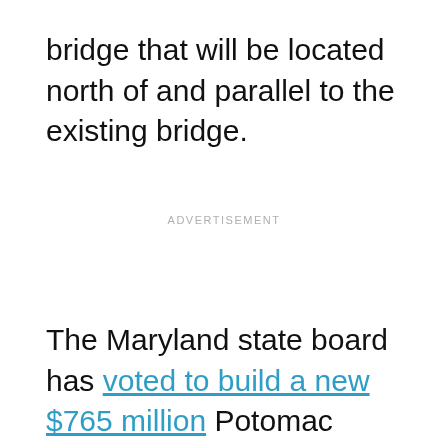bridge that will be located north of and parallel to the existing bridge.
ADVERTISEMENT
The Maryland state board has voted to build a new $765 million Potomac River crossing in Charles County to replace the aging Harry Nice Bridge. Maryland Transportation Authority aims